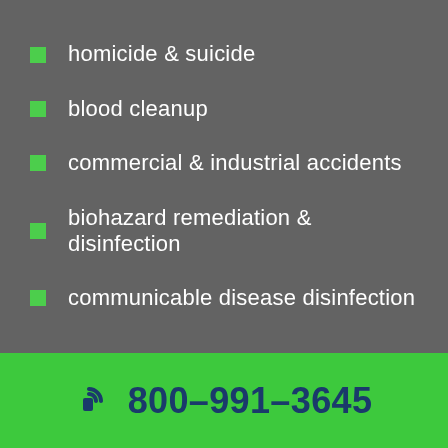homicide & suicide
blood cleanup
commercial & industrial accidents
biohazard remediation & disinfection
communicable disease disinfection
800-991-3645